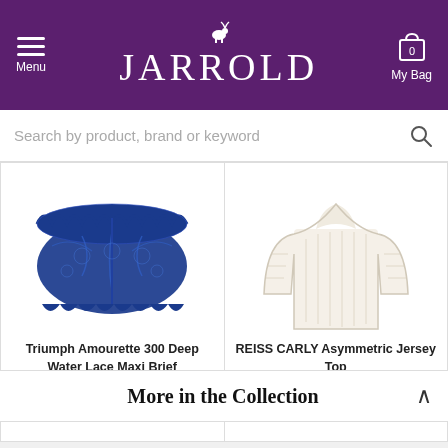JARROLD — Menu | My Bag
Search by product, brand or keyword
[Figure (photo): Triumph Amourette 300 Deep Water Lace Maxi Brief — blue lace underwear product photo]
Triumph Amourette 300 Deep Water Lace Maxi Brief
£24.00
[Figure (photo): REISS CARLY Asymmetric Jersey Top — cream/white long sleeve jersey top product photo]
REISS CARLY Asymmetric Jersey Top
Out of stock
More in the Collection